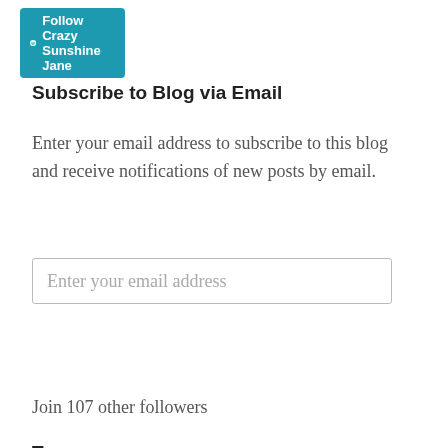[Figure (other): WordPress 'Follow Crazy Sunshine Jane' button in teal/cyan color with WordPress logo icon]
Subscribe to Blog via Email
Enter your email address to subscribe to this blog and receive notifications of new posts by email.
[Figure (other): Email input field with placeholder text 'Enter your email address']
[Figure (other): Subscribe button in blue]
Join 107 other followers
Tags